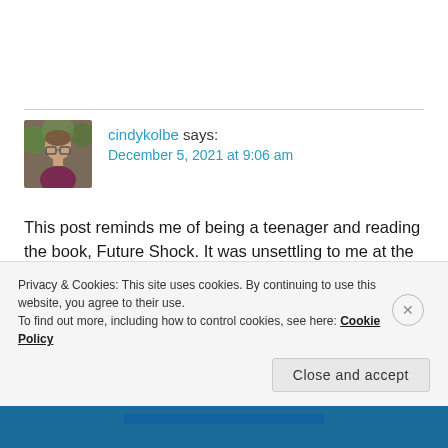cindykolbe says: December 5, 2021 at 9:06 am
This post reminds me of being a teenager and reading the book, Future Shock. It was unsettling to me at the time, the concept of change happening too quickly to process, like a runaway train. Today I'm older and presumably wiser, yet the changes happening now in our world are more
Privacy & Cookies: This site uses cookies. By continuing to use this website, you agree to their use. To find out more, including how to control cookies, see here: Cookie Policy
Close and accept